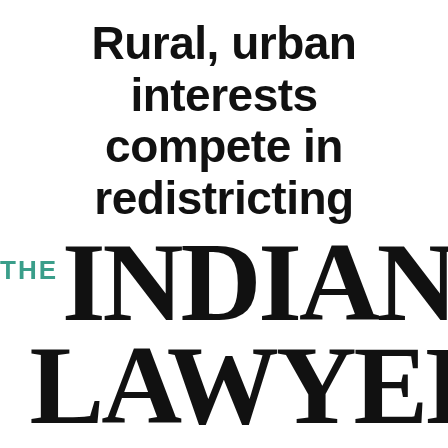Rural, urban interests compete in redistricting
[Figure (logo): The Indiana Lawyer masthead logo with 'THE' in teal/green and 'INDIANA LAWYER' in large bold serif black text]